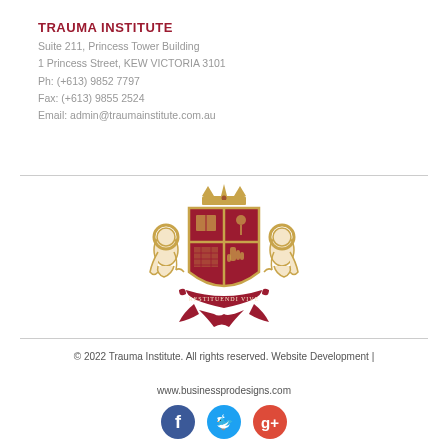TRAUMA INSTITUTE
Suite 211, Princess Tower Building
1 Princess Street, KEW VICTORIA 3101
Ph: (+613) 9852 7797
Fax: (+613) 9855 2524
Email: admin@traumainstitute.com.au
[Figure (logo): Trauma Institute heraldic crest with two lions flanking a shield, crown on top, and banner reading RESTITUENDI VIVE]
© 2022 Trauma Institute. All rights reserved. Website Development | www.businessprodesigns.com
[Figure (other): Social media icons: Facebook (blue circle), Twitter (cyan circle), Google+ (red circle)]